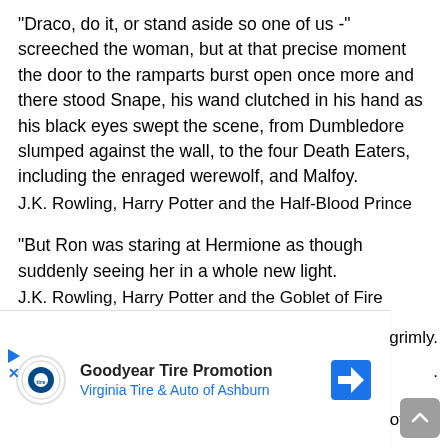“Draco, do it, or stand aside so one of us -” screeched the woman, but at that precise moment the door to the ramparts burst open once more and there stood Snape, his wand clutched in his hand as his black eyes swept the scene, from Dumbledore slumped against the wall, to the four Death Eaters, including the enraged werewolf, and Malfoy.
J.K. Rowling, Harry Potter and the Half-Blood Prince
“But Ron was staring at Hermione as though suddenly seeing her in a whole new light.
J.K. Rowling, Harry Potter and the Goblet of Fire
[Figure (other): Advertisement overlay: Goodyear Tire Promotion, Virginia Tire & Auto of Ashburn, with logo and navigation icon]